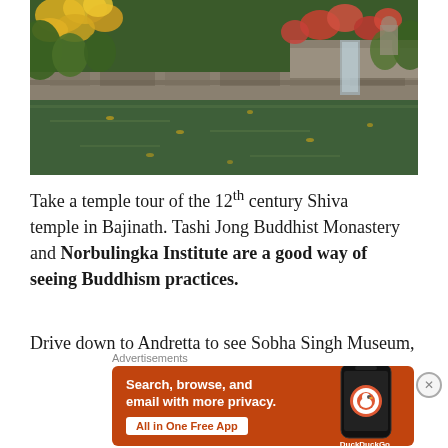[Figure (photo): Garden pond with stone retaining walls, yellow and red flowering plants, and a small waterfall feature in the background. The water has fallen petals floating on its surface.]
Take a temple tour of the 12th century Shiva temple in Bajinath. Tashi Jong Buddhist Monastery and Norbulingka Institute are a good way of seeing Buddhism practices.
Drive down to Andretta to see Sobha Singh Museum,
Advertisements
[Figure (screenshot): DuckDuckGo advertisement. Orange background with white text: 'Search, browse, and email with more privacy. All in One Free App' with a smartphone image showing the DuckDuckGo logo and app icon.]